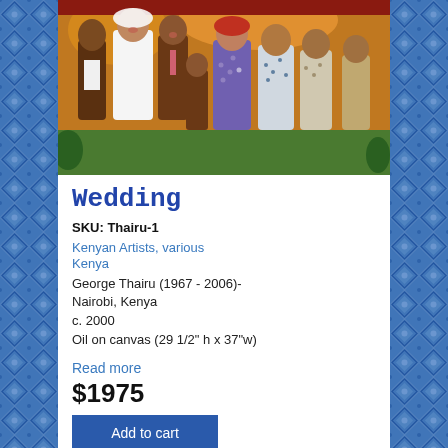[Figure (illustration): Painting depicting a group of people at a wedding celebration, colorful African art style by George Thairu.]
Wedding
SKU: Thairu-1
Kenyan Artists, various
Kenya
George Thairu (1967 - 2006)-
Nairobi, Kenya
c. 2000
Oil on canvas (29 1/2" h x 37"w)
Read more
$1975
Add to cart